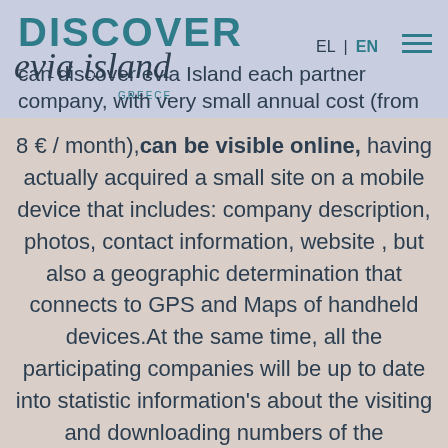[Figure (logo): Discover Evia Island Greece logo with navigation EL/EN and hamburger menu]
can discover evia Island each partner company, with very small annual cost (from
8 € / month),can be visible online, having actually acquired a small site on a mobile device that includes: company description, photos, contact information, website , but also a geographic determination that connects to GPS and Maps of handheld devices.At the same time, all the participating companies will be up to date into statistic information's about the visiting and downloading numbers of the application.
Discover Evia Island will be featured throughout Evia, Athens, the rest of Greece and